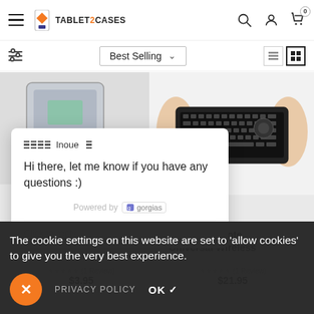TABLET2CASES — Best Selling — cart: 0
[Figure (screenshot): Two product images: a tablet case on the left, a person holding a wireless mini keyboard on the right]
[Figure (screenshot): Chat widget from Gorgias showing message: Hi there, let me know if you have any questions :)]
Cooper Remote Universal Wireless
The cookie settings on this website are set to 'allow cookies' to give you the very best experience.
PRIVACY POLICY   OK ✓
$3.95   (1 Review)   $21.95   (1 Review)